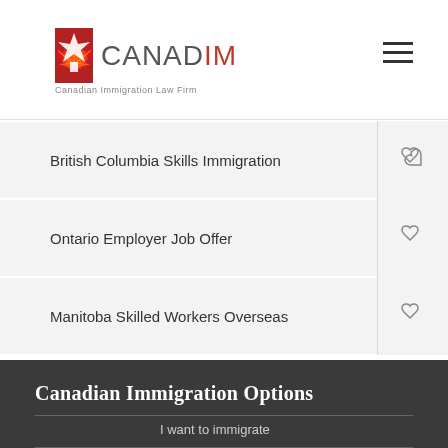[Figure (logo): CANADIM Canadian Immigration Law Firm logo with maple leaf icon]
British Columbia Skills Immigration
Ontario Employer Job Offer
Manitoba Skilled Workers Overseas
Canadian Immigration Options
I want to immigrate
I want to study